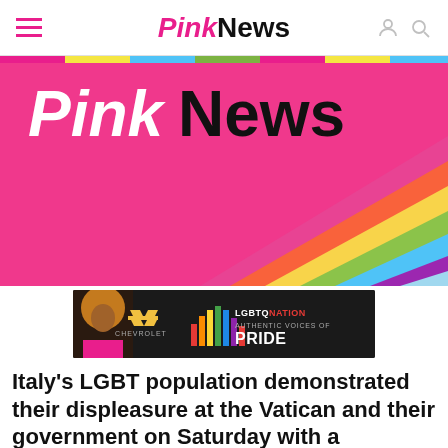PinkNews
[Figure (illustration): PinkNews hero banner with pink background and rainbow diagonal stripes, featuring the PinkNews logo in white and black text]
[Figure (illustration): Advertisement banner: Chevrolet and LGBTQ Nation - Authentic Voices of Pride, dark background with a person with big hair on the left and colorful bars in the middle]
Italy's LGBT population demonstrated their displeasure at the Vatican and their government on Saturday with a colourful march through the streets of Rome.